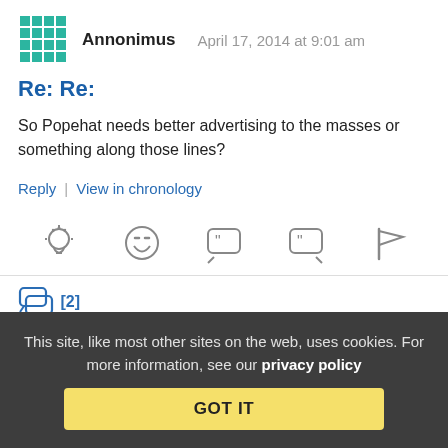[Figure (illustration): Teal pixel/mosaic avatar icon for user Annonimus]
Annonimus   April 17, 2014 at 9:01 am
Re: Re:
So Popehat needs better advertising to the masses or something along those lines?
Reply | View in chronology
[Figure (illustration): Row of action icons: lightbulb, laughing face, open-quote speech bubble, close-quote speech bubble, flag]
[Figure (illustration): Replies icon with [2] count]
This site, like most other sites on the web, uses cookies. For more information, see our privacy policy
GOT IT